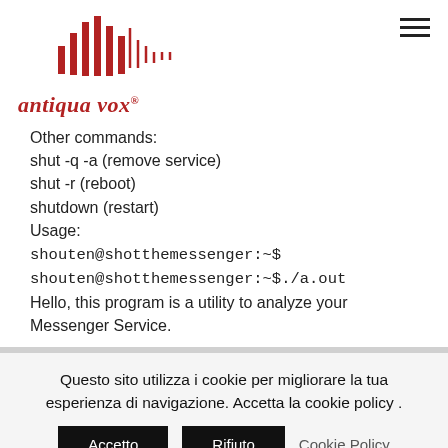[Figure (logo): Antiqua Vox logo with red vertical sound wave bars and italic red text 'antiqua vox ®']
Other commands:
shut -q -a (remove service)
shut -r (reboot)
shutdown (restart)
Usage:
shouten@shotthemessenger:~$
shouten@shotthemessenger:~$./a.out
Hello, this program is a utility to analyze your Messenger Service.
Questo sito utilizza i cookie per migliorare la tua esperienza di navigazione. Accetta la cookie policy .
Accetto  Rifiuto  Cookie Policy